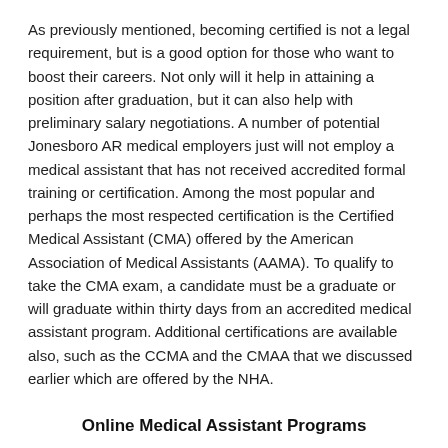As previously mentioned, becoming certified is not a legal requirement, but is a good option for those who want to boost their careers. Not only will it help in attaining a position after graduation, but it can also help with preliminary salary negotiations. A number of potential Jonesboro AR medical employers just will not employ a medical assistant that has not received accredited formal training or certification. Among the most popular and perhaps the most respected certification is the Certified Medical Assistant (CMA) offered by the American Association of Medical Assistants (AAMA). To qualify to take the CMA exam, a candidate must be a graduate or will graduate within thirty days from an accredited medical assistant program. Additional certifications are available also, such as the CCMA and the CMAA that we discussed earlier which are offered by the NHA.
Online Medical Assistant Programs